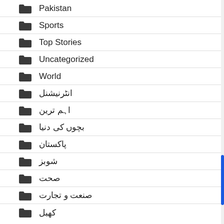Pakistan
Sports
Top Stories
Uncategorized
World
انٹرنیشنل
اہم ترین
بچوں کی دنیا
پاکستان
شوبز
صحت
صنعت و تجارت
کھیل